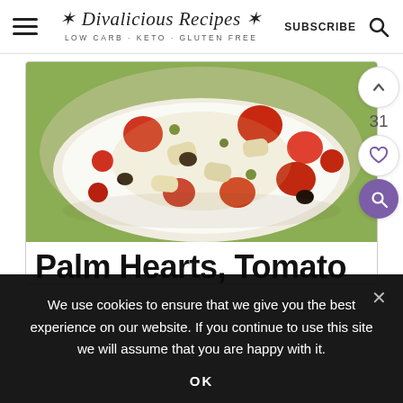Divalicious Recipes - LOW CARB · KETO · GLUTEN FREE | SUBSCRIBE
[Figure (photo): Bowl of Palm Hearts and Tomato salad with olives and vegetables, colorful dish on white plate]
Palm Hearts, Tomato
We use cookies to ensure that we give you the best experience on our website. If you continue to use this site we will assume that you are happy with it.
OK